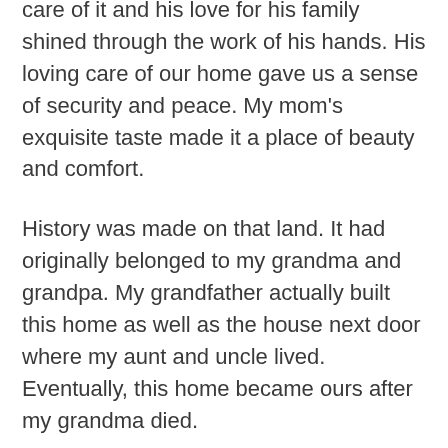care of it and his love for his family shined through the work of his hands. His loving care of our home gave us a sense of security and peace. My mom's exquisite taste made it a place of beauty and comfort.
History was made on that land. It had originally belonged to my grandma and grandpa. My grandfather actually built this home as well as the house next door where my aunt and uncle lived. Eventually, this home became ours after my grandma died.
When my parents were aging, they decided it was time to let go and move on…a difficult decision, but necessary. I've often wished that one of us could have lived there and kept it in the family. After they left, I didn't have the courage to go back there. I just couldn't face the tears I knew it would inevitably bring. Tears not just for a house that was no longer